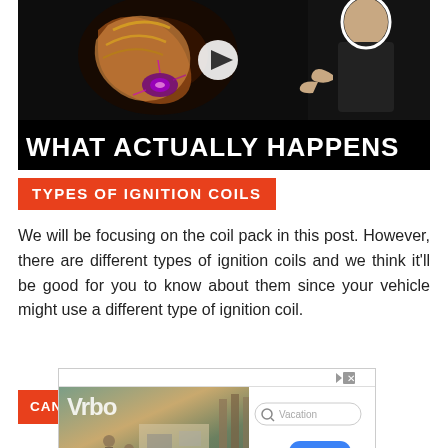[Figure (screenshot): Video thumbnail with dark background showing an ignition coil with sparks/electricity effect, a person in black shirt on the right, a play button overlay, and a title bar reading 'WHAT ACTUALLY HAPPENS']
TYPES OF IGNITION COILS
We will be focusing on the coil pack in this post. However, there are different types of ignition coils and we think it'll be good for you to know about them since your vehicle might use a different type of ignition coil.
CAN TYPE IGNITION COIL AND DISTRIBUTOR COI
[Figure (screenshot): Advertisement overlay showing travel booking website with logo, vacation search box, and 'Book Now' button]